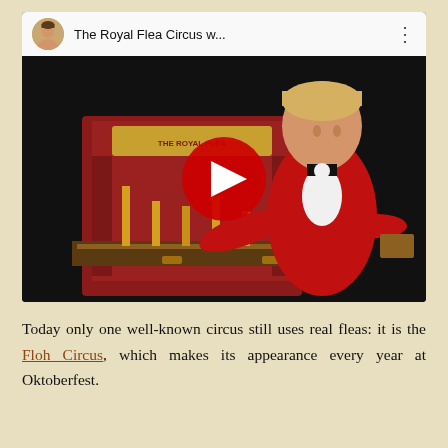[Figure (screenshot): YouTube video thumbnail showing a man in a red jacket performing at The Royal Flea Circus, with a circus prop suitcase open in front of him. YouTube player interface visible with play button.]
Today only one well-known circus still uses real fleas: it is the Floh Circus, which makes its appearance every year at Oktoberfest.